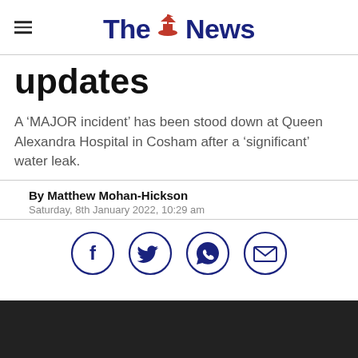The News
updates
A ‘MAJOR incident’ has been stood down at Queen Alexandra Hospital in Cosham after a ‘significant’ water leak.
By Matthew Mohan-Hickson
Saturday, 8th January 2022, 10:29 am
[Figure (infographic): Four social sharing icons in circles: Facebook (f), Twitter (bird), WhatsApp (phone handset), Email (envelope)]